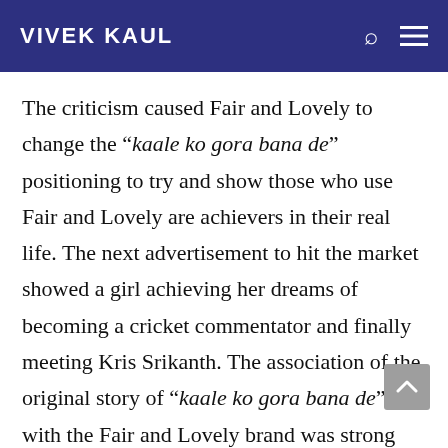VIVEK KAUL
The criticism caused Fair and Lovely to change the “kaale ko gora bana de” positioning to try and show those who use Fair and Lovely are achievers in their real life. The next advertisement to hit the market showed a girl achieving her dreams of becoming a cricket commentator and finally meeting Kris Srikanth. The association of the original story of “kaale ko gora bana de” with the Fair and Lovely brand was strong that it had to go back to it with the claim that the cream made women several shades lighter in four to six weeks. In that sense Shiv Sena like Fair and Lovely is going back to